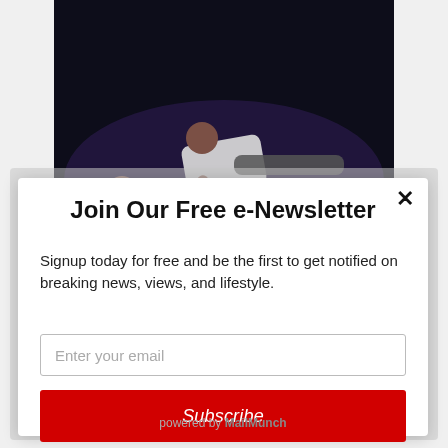[Figure (photo): Two dancers on stage — one lying on the floor in red, one leaning over them in white/grey, performing on a dark stage]
Jamar Roberts and Jacqueline Green in "A Case of
Join Our Free e-Newsletter
Signup today for free and be the first to get notified on breaking news, views, and lifestyle.
Enter your email
Subscribe
powered by MailMunch